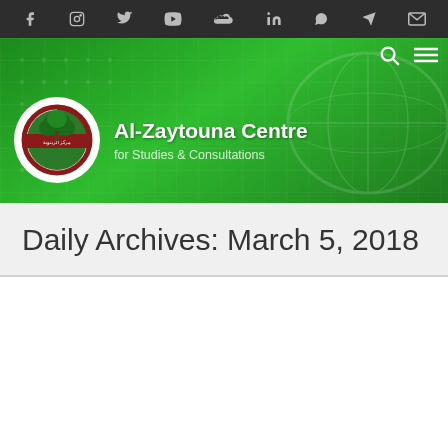Social media icons bar (Facebook, Instagram, Twitter, YouTube, SoundCloud, LinkedIn, WhatsApp, Telegram, Email)
[Figure (logo): Al-Zaytouna Centre banner with green gradient background, grid pattern, organisation logo (tree in circular emblem), and organisation name]
Daily Archives: March 5, 2018